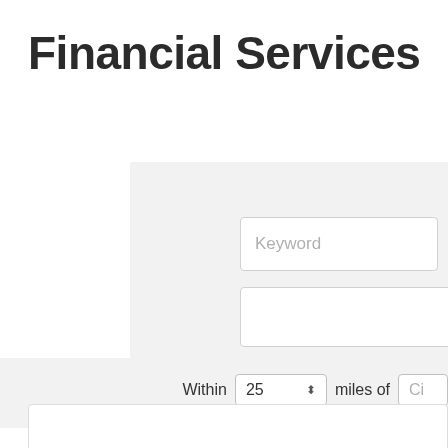Financial Services
[Figure (screenshot): Search interface with a keyword input field showing placeholder text 'Keyword', a second input field below it, all on a light gray background panel]
Within  25  miles of  Ci
Results Found:  9
[Figure (screenshot): Bottom portion of a result card with white background and border]